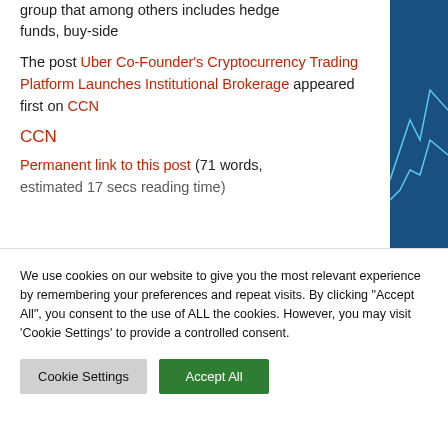group that among others includes hedge funds, buy-side
The post Uber Co-Founder's Cryptocurrency Trading Platform Launches Institutional Brokerage appeared first on CCN
CCN
Permanent link to this post (71 words, estimated 17 secs reading time)
We use cookies on our website to give you the most relevant experience by remembering your preferences and repeat visits. By clicking "Accept All", you consent to the use of ALL the cookies. However, you may visit 'Cookie Settings' to provide a controlled consent.